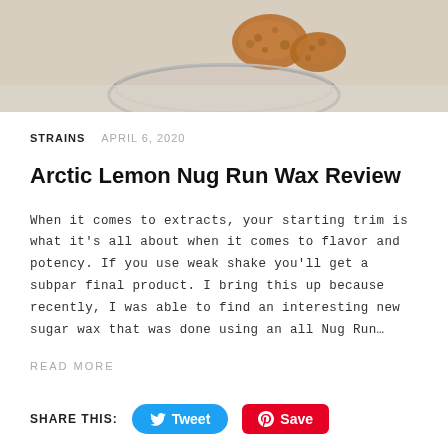[Figure (photo): Photo of amber/brown cannabis wax concentrate in a glass jar, viewed from above, on a white surface]
STRAINS   APRIL 6, 2020
Arctic Lemon Nug Run Wax Review
When it comes to extracts, your starting trim is what it's all about when it comes to flavor and potency. If you use weak shake you'll get a subpar final product. I bring this up because recently, I was able to find an interesting new sugar wax that was done using an all Nug Run…
READ MORE
SHARE THIS:   Tweet   Save